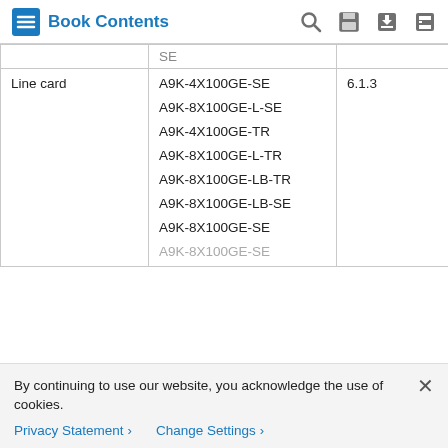Book Contents
|  |  |  |
| --- | --- | --- |
|  | SE |  |
| Line card | A9K-4X100GE-SE
A9K-8X100GE-L-SE
A9K-4X100GE-TR
A9K-8X100GE-L-TR
A9K-8X100GE-LB-TR
A9K-8X100GE-LB-SE
A9K-8X100GE-SE
A9K-8X100GE-SE... | 6.1.3 |
By continuing to use our website, you acknowledge the use of cookies.
Privacy Statement > Change Settings >